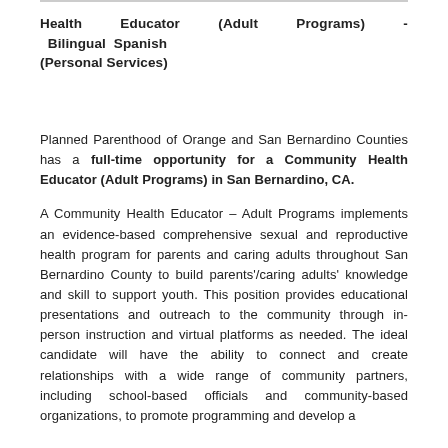Health Educator (Adult Programs) - Bilingual Spanish (Personal Services)
Planned Parenthood of Orange and San Bernardino Counties has a full-time opportunity for a Community Health Educator (Adult Programs) in San Bernardino, CA.
A Community Health Educator – Adult Programs implements an evidence-based comprehensive sexual and reproductive health program for parents and caring adults throughout San Bernardino County to build parents'/caring adults' knowledge and skill to support youth. This position provides educational presentations and outreach to the community through in-person instruction and virtual platforms as needed. The ideal candidate will have the ability to connect and create relationships with a wide range of community partners, including school-based officials and community-based organizations, to promote programming and develop a